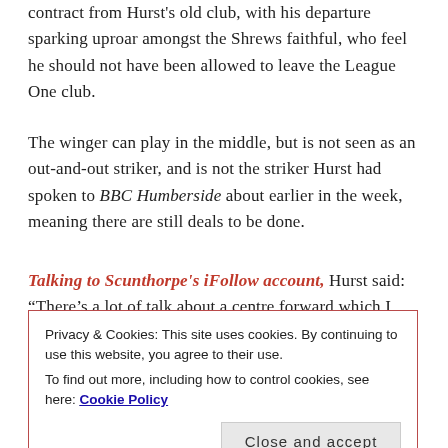contract from Hurst's old club, with his departure sparking uproar amongst the Shrews faithful, who feel he should not have been allowed to leave the League One club.
The winger can play in the middle, but is not seen as an out-and-out striker, and is not the striker Hurst had spoken to BBC Humberside about earlier in the week, meaning there are still deals to be done.
Talking to Scunthorpe's iFollow account, Hurst said: “There’s a lot of talk about a centre forward which I understand.
Privacy & Cookies: This site uses cookies. By continuing to use this website, you agree to their use.
To find out more, including how to control cookies, see here: Cookie Policy
tracking closely throughout the summer.